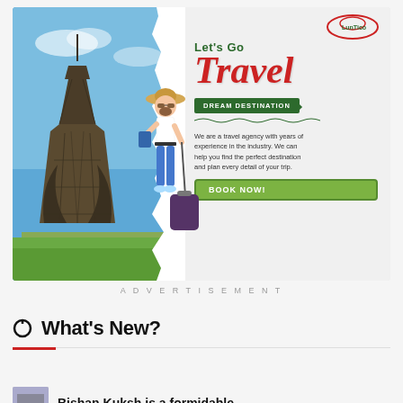[Figure (illustration): Travel agency advertisement banner showing the Eiffel Tower on the left half with blue sky, and a young woman walking with luggage on the right half. Text reads: 'Let's Go Travel - DREAM DESTINATION - We are a travel agency with years of experience in the industry. We can help you find the perfect destination and plan every detail of your trip.' with a green BOOK NOW! button and a logo in top right.]
ADVERTISEMENT
What's New?
Bishan Kuksh is a formidable